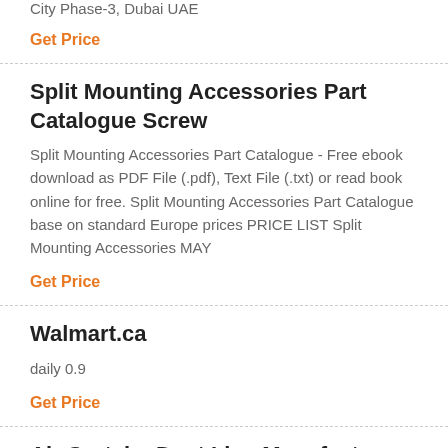City Phase-3, Dubai UAE
Get Price
Split Mounting Accessories Part Catalogue Screw
Split Mounting Accessories Part Catalogue - Free ebook download as PDF File (.pdf), Text File (.txt) or read book online for free. Split Mounting Accessories Part Catalogue base on standard Europe prices PRICE LIST Split Mounting Accessories MAY
Get Price
Walmart.ca
daily 0.9
Get Price
Air Curtain, Duct Line Manufacturer In Delhi India